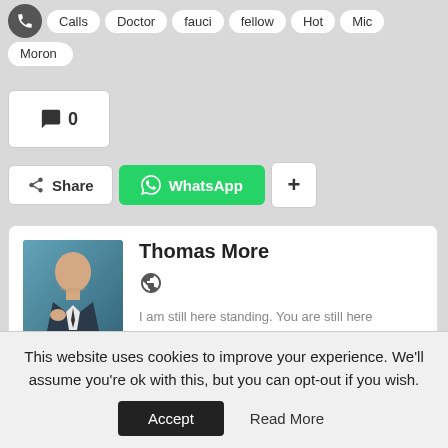Calls Doctor fauci fellow Hot Mic military
Moron
💬 0
Share | WhatsApp | +
Thomas More
I am still here standing. You are still here standing. Keep Fighting.
This website uses cookies to improve your experience. We'll assume you're ok with this, but you can opt-out if you wish. Accept | Read More